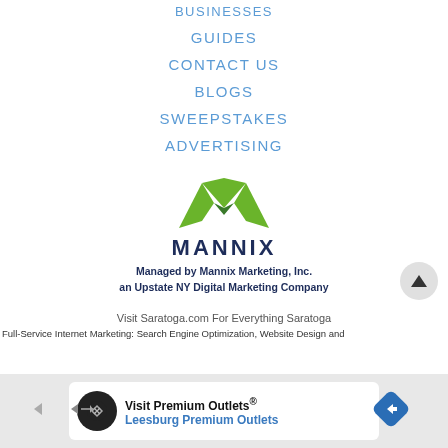BUSINESSES
GUIDES
CONTACT US
BLOGS
SWEEPSTAKES
ADVERTISING
[Figure (logo): Mannix Marketing logo with green M-shaped double mountain icon and navy MANNIX text]
Managed by Mannix Marketing, Inc.
an Upstate NY Digital Marketing Company
Visit Saratoga.com For Everything Saratoga
Full-Service Internet Marketing: Search Engine Optimization, Website Design and
[Figure (infographic): Advertisement banner for Visit Premium Outlets® - Leesburg Premium Outlets with blue diamond navigation icon]